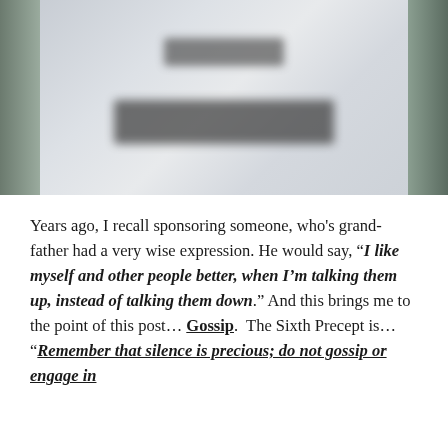[Figure (photo): A blurred/redacted photo showing a book or sign with illegible text, flanked by dark green vertical bars on each side.]
Years ago, I recall sponsoring someone, who's grand-father had a very wise expression. He would say, "I like myself and other people better, when I'm talking them up, instead of talking them down." And this brings me to the point of this post... Gossip.  The Sixth Precept is... "Remember that silence is precious; do not gossip or engage in